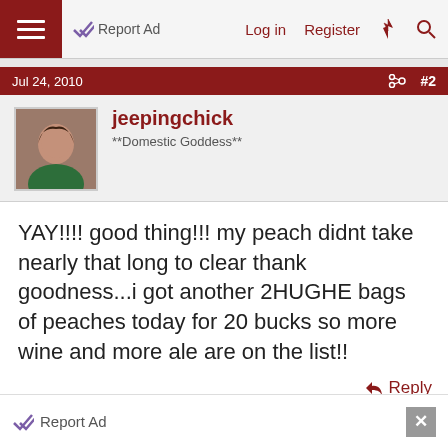Report Ad | Log in | Register
Jul 24, 2010  #2
jeepingchick
**Domestic Goddess**
YAY!!!! good thing!!! my peach didnt take nearly that long to clear thank goodness...i got another 2HUGHE bags of peaches today for 20 bucks so more wine and more ale are on the list!!
Reply
Jul 24, 2010  #3
Tom
Report Ad